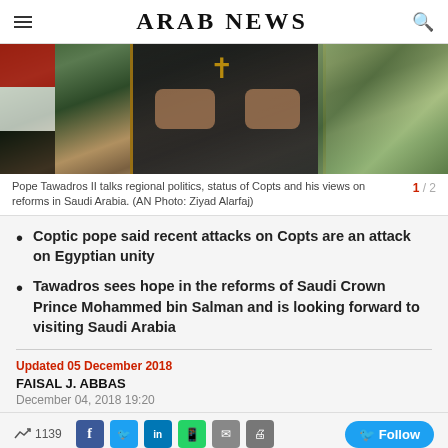ARAB NEWS
[Figure (photo): Close-up of Pope Tawadros II in ornate black and gold religious vestments holding a staff, with Egyptian flag visible on the left and decorative background.]
Pope Tawadros II talks regional politics, status of Copts and his views on reforms in Saudi Arabia. (AN Photo: Ziyad Alarfaj) 1 / 2
Coptic pope said recent attacks on Copts are an attack on Egyptian unity
Tawadros sees hope in the reforms of Saudi Crown Prince Mohammed bin Salman and is looking forward to visiting Saudi Arabia
Updated 05 December 2018
FAISAL J. ABBAS
December 04, 2018 19:20